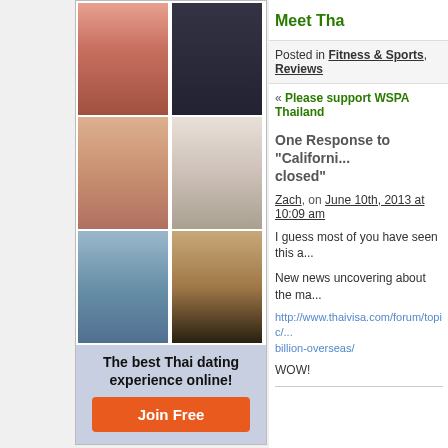[Figure (photo): Thai dating site advertisement with grid of 6 photos of women, 'The best Thai dating experience online!' text, 'Join Free' button]
Thai Dating Sites
Meet Tha...
Posted in Fitness & Sports, Reviews
« Please support WSPA Thailand
One Response to “Californ... closed”
Zach, on June 10th, 2013 at 10:09 am
I guess most of you have seen this a...
New news uncovering about the ma...
http://www.thaivisa.com/forum/topic/...billion-overseas/
WOW!